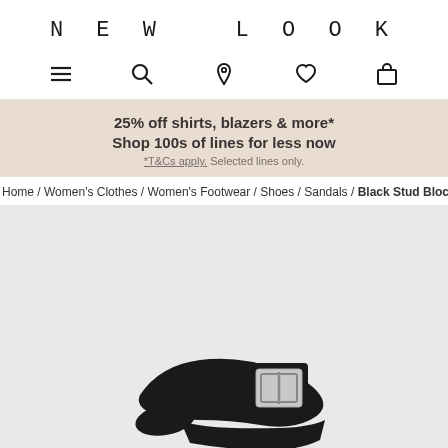NEW LOOK
[Figure (screenshot): Navigation icon bar with hamburger menu, search, location pin, heart/wishlist, and shopping bag icons]
25% off shirts, blazers & more*
Shop 100s of lines for less now
*T&Cs apply. Selected lines only.
Home / Women's Clothes / Women's Footwear / Shoes / Sandals / Black Stud Block H…
[Figure (photo): Close-up photo of a black sandal with a buckle strap on a light grey background]